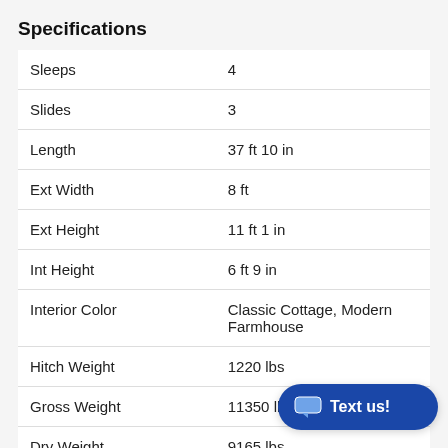Specifications
| Specification | Value |
| --- | --- |
| Sleeps | 4 |
| Slides | 3 |
| Length | 37 ft 10 in |
| Ext Width | 8 ft |
| Ext Height | 11 ft 1 in |
| Int Height | 6 ft 9 in |
| Interior Color | Classic Cottage, Modern Farmhouse |
| Hitch Weight | 1220 lbs |
| Gross Weight | 11350 lbs |
| Dry Weight | 9165 lbs |
| Cargo Weight | 21... |
| Fresh Water Capacity | 40 gals |